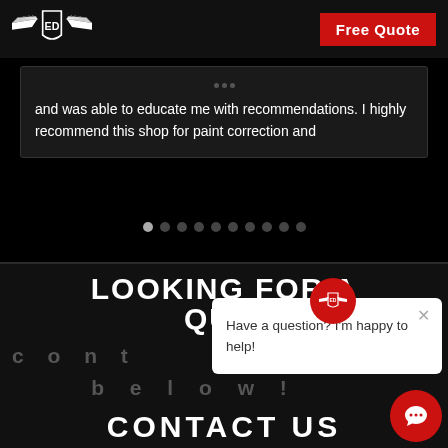[Figure (logo): ED winged shield logo in white on black header bar]
Free Quote
and was able to educate me with recommendations. I highly recommend this shop for paint correction and
LOOKING FOR A QUOTE?
cont
below!
CONTACT US
Have a question? I'm happy to help!